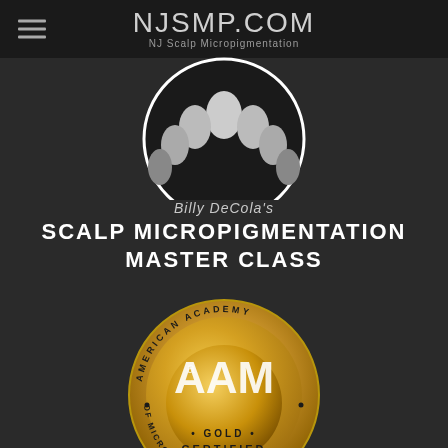NJSMP.COM — NJ Scalp Micropigmentation
[Figure (logo): Circular SMP logo badge showing stylized hair follicles/dots in black and white, partially visible at top]
Billy DeCola's
SCALP MICROPIGMENTATION MASTER CLASS
[Figure (logo): American Academy of Micropigmentation gold certified seal badge with AAM letters and circular text reading AMERICAN ACADEMY OF MICROPIGMENTATION with GOLD CERTIFIED text]